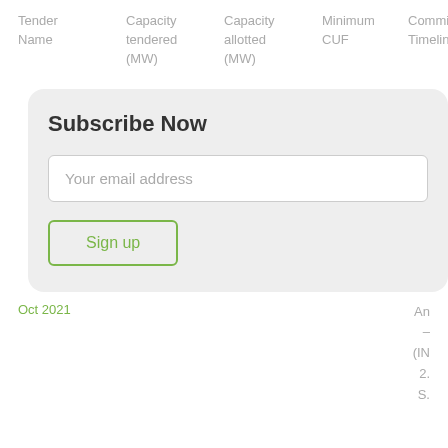| Tender Name | Capacity tendered (MW) | Capacity allotted (MW) | Minimum CUF | Commissioning Timeline | W D... |
| --- | --- | --- | --- | --- | --- |
[Figure (other): Subscribe Now modal overlay with email input field and Sign up button]
Oct 2021
An – (IN 2. S.